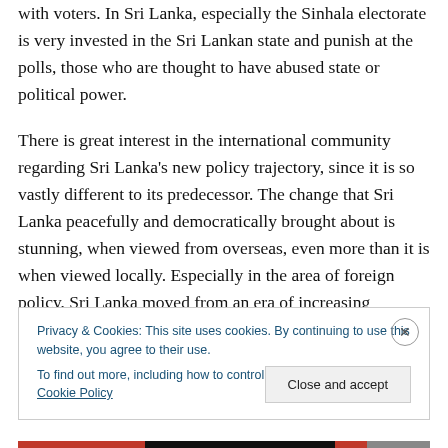with voters. In Sri Lanka, especially the Sinhala electorate is very invested in the Sri Lankan state and punish at the polls, those who are thought to have abused state or political power.
There is great interest in the international community regarding Sri Lanka's new policy trajectory, since it is so vastly different to its predecessor. The change that Sri Lanka peacefully and democratically brought about is stunning, when viewed from overseas, even more than it is when viewed locally. Especially in the area of foreign policy, Sri Lanka moved from an era of increasing isolation
Privacy & Cookies: This site uses cookies. By continuing to use this website, you agree to their use.
To find out more, including how to control cookies, see here: Cookie Policy
Close and accept